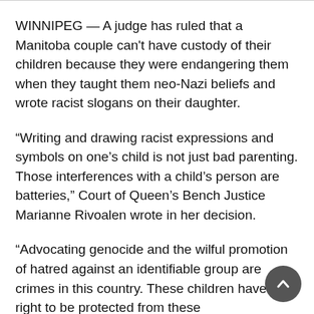WINNIPEG — A judge has ruled that a Manitoba couple can't have custody of their children because they were endangering them when they taught them neo-Nazi beliefs and wrote racist slogans on their daughter.
“Writing and drawing racist expressions and symbols on one’s child is not just bad parenting. Those interferences with a child’s person are batteries,” Court of Queen’s Bench Justice Marianne Rivoalen wrote in her decision.
“Advocating genocide and the wilful promotion of hatred against an identifiable group are crimes in this country. These children have a right to be protected from these